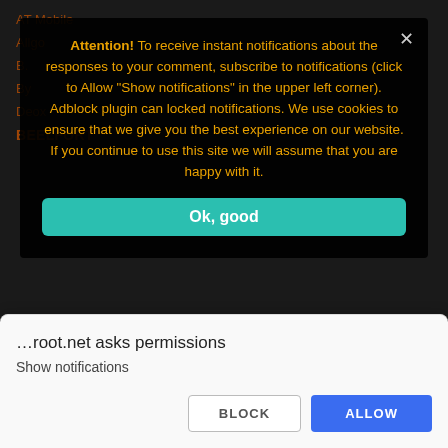Attention! To receive instant notifications about the responses to your comment, subscribe to notifications (click to Allow "Show notifications" in the upper left corner). Adblock plugin can locked notifications. We use cookies to ensure that we give you the best experience on our website. If you continue to use this site we will assume that you are happy with it.
Ok, good
BenQ
Black
BlackBerry
Blackphone
Blackview
…root.net asks permissions
Show notifications
BLOCK
ALLOW